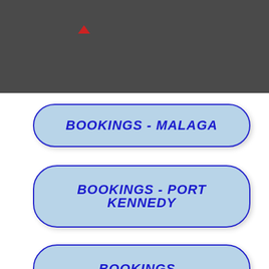[Figure (screenshot): Dark grey header bar with a small red upward arrow icon on the left side]
BOOKINGS - MALAGA
BOOKINGS - PORT KENNEDY
BOOKINGS - WILLETTON
LET US KNOW HOW